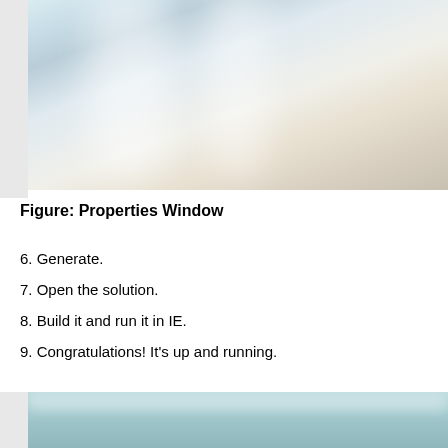[Figure (screenshot): Blurred/frosted screenshot of a Properties Window interface, showing a light-colored blurry interior view]
Figure: Properties Window
6. Generate.
7. Open the solution.
8. Build it and run it in IE.
9. Congratulations! It's up and running.
[Figure (screenshot): Blurred/frosted screenshot cropped at bottom of page, teal/blue toned]